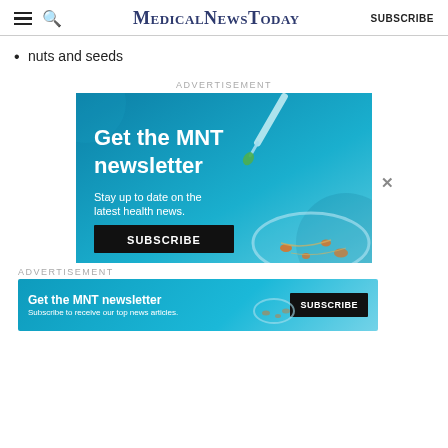MedicalNewsToday | SUBSCRIBE
nuts and seeds
ADVERTISEMENT
[Figure (illustration): MNT newsletter advertisement banner with blue background, dropper/pipette, and petri dish. Text: Get the MNT newsletter. Stay up to date on the latest health news. SUBSCRIBE button.]
ADVERTISEMENT
[Figure (illustration): MNT newsletter bottom banner ad with blue background. Text: Get the MNT newsletter. Subscribe to receive our top news articles. SUBSCRIBE button.]